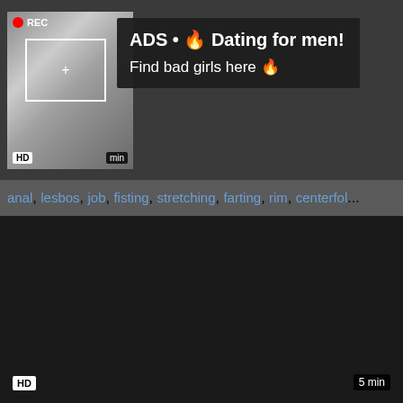[Figure (screenshot): Video thumbnail with REC indicator and camera focus box overlay, HD badge bottom-left]
[Figure (screenshot): Advertisement overlay: ADS • 🔥 Dating for men! Find bad girls here 🔥]
anal, lesbos, job, fisting, stretching, farting, rim, centerfol...
[Figure (screenshot): Dark video player area with HD badge bottom-left and 5 min badge bottom-right]